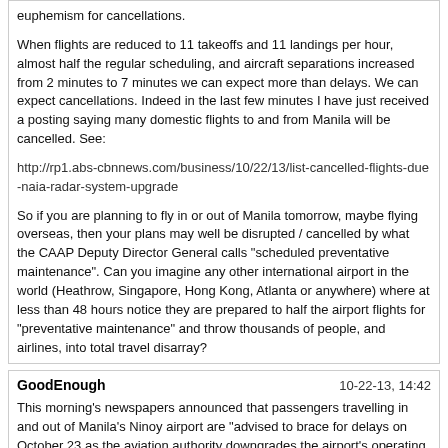euphemism for cancellations.

When flights are reduced to 11 takeoffs and 11 landings per hour, almost half the regular scheduling, and aircraft separations increased from 2 minutes to 7 minutes we can expect more than delays. We can expect cancellations. Indeed in the last few minutes I have just received a posting saying many domestic flights to and from Manila will be cancelled. See:

http://rp1.abs-cbnnews.com/business/10/22/13/list-cancelled-flights-due-naia-radar-system-upgrade

So if you are planning to fly in or out of Manila tomorrow, maybe flying overseas, then your plans may well be disrupted / cancelled by what the CAAP Deputy Director General calls "scheduled preventative maintenance". Can you imagine any other international airport in the world (Heathrow, Singapore, Hong Kong, Atlanta or anywhere) where at less than 48 hours notice they are prepared to half the airport flights for "preventative maintenance" and throw thousands of people, and airlines, into total travel disarray?
GoodEnough   10-22-13, 14:42

This morning's newspapers announced that passengers travelling in and out of Manila's Ninoy airport are "advised to brace for delays on October 23 as the aviation authority downgrades the airport's operating capacity from 42 to 22 landings and take-offs per hour to give way to maintenance work on its radar system".

So if you are planning to fly in or out of Manila tomorrow, maybe flying overseas, then your plans may well be disrupted / cancelled by what the CAAP Deputy Director General calls "scheduled preventative maintenance". Can you imagine any other international airport in the world (Heathrow, Singapore, Hong Kong, Atlanta or anywhere) where at less than 48 hours notice they are prepared to half the airport flights for "preventative maintenance" and throw thousands of people, and airlines, into total travel disarray?I just returned from a few day in Bangkok, and was struck, once again, by the enormous disparities in infrastructure development between the two countries. I've got no explanation for the ovhwelming ineptitude of the government's ability to plan